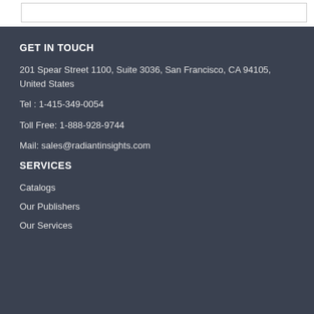GET IN TOUCH
201 Spear Street 1100, Suite 3036, San Francisco, CA 94105, United States
Tel : 1-415-349-0054
Toll Free: 1-888-928-9744
Mail: sales@radiantinsights.com
SERVICES
Catalogs
Our Publishers
Our Services